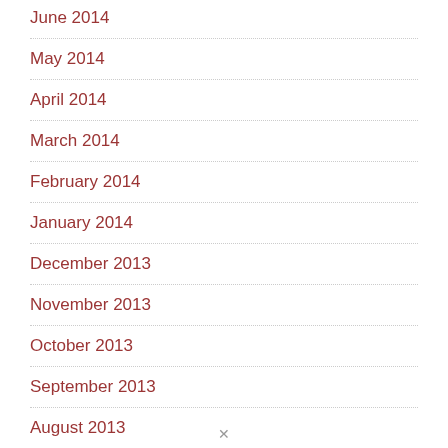June 2014
May 2014
April 2014
March 2014
February 2014
January 2014
December 2013
November 2013
October 2013
September 2013
August 2013